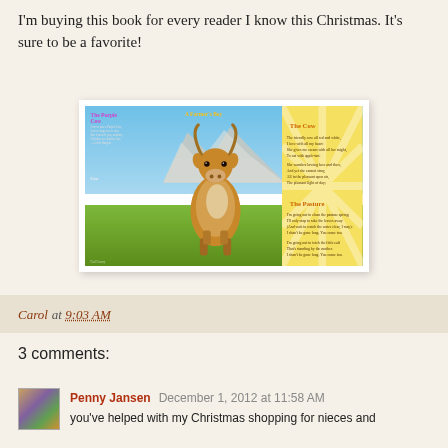I'm buying this book for every reader I know this Christmas. It's sure to be a favorite!
[Figure (photo): A double-page spread of a children's book showing a large cow walking toward the viewer in an alpine meadow, with mountain scenery in the background. The left page shows 'The Purple Cow' title in purple text and the right page features 'A Farmer's Boy' in gold text, with a golden sunburst panel on the far right containing poems titled 'The Cow' and 'The Pasture'.]
Carol at 9:03 AM
3 comments:
Penny Jansen December 1, 2012 at 11:58 AM
you've helped with my Christmas shopping for nieces and